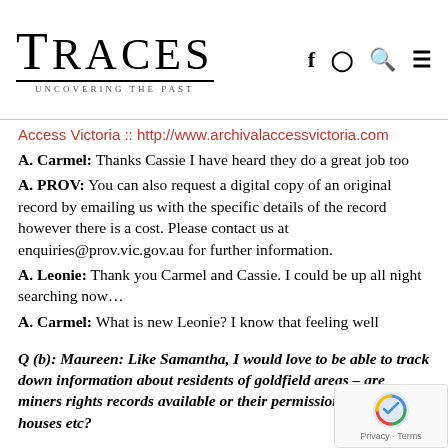TRACES — Uncovering the Past
Access Victoria :: http://www.archivalaccessvictoria.com
A. Carmel: Thanks Cassie I have heard they do a great job too
A. PROV: You can also request a digital copy of an original record by emailing us with the specific details of the record however there is a cost. Please contact us at enquiries@prov.vic.gov.au for further information.
A. Leonie: Thank you Carmel and Cassie. I could be up all night searching now…
A. Carmel: What is new Leonie? I know that feeling well
Q (b): Maureen: Like Samantha, I would love to be able to track down information about residents of goldfield areas – are miners rights records available or their permission to build houses etc?
A. PROV: @Maureen. A typical series about licenses for mining is here – the record is a register of applications, which